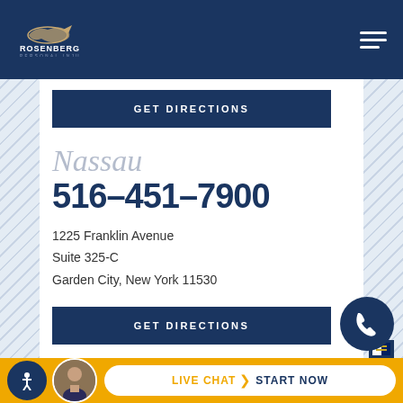[Figure (logo): Rosenberg & Gluck LLP Personal Injury Law logo — white text on dark navy header with decorative icon]
GET DIRECTIONS
Nassau
516-451-7900
1225 Franklin Avenue
Suite 325-C
Garden City, New York 11530
GET DIRECTIONS
LIVE CHAT  START NOW